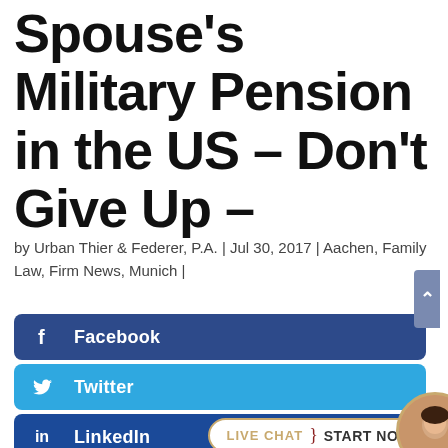Spouse's Military Pension in the US – Don't Give Up –
by Urban Thier & Federer, P.A. | Jul 30, 2017 | Aachen, Family Law, Firm News, Munich |
[Figure (screenshot): Social media sharing buttons: Facebook (dark blue), Twitter (light blue), LinkedIn (dark blue) with Live Chat bubble overlay and avatar, Print Friendly (green). A scroll-to-top button appears on the right side.]